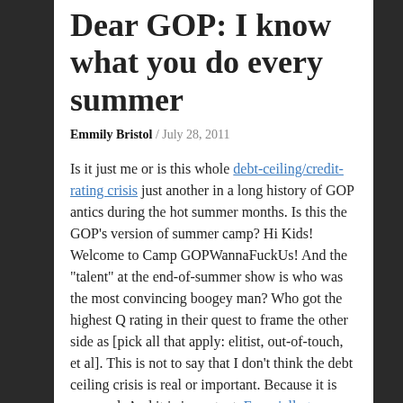Dear GOP: I know what you do every summer
Emmily Bristol / July 28, 2011
Is it just me or is this whole debt-ceiling/credit-rating crisis just another in a long history of GOP antics during the hot summer months. Is this the GOP's version of summer camp? Hi Kids! Welcome to Camp GOPWannaFuckUs! And the "talent" at the end-of-summer show is who was the most convincing boogey man? Who got the highest Q rating in their quest to frame the other side as [pick all that apply: elitist, out-of-touch, et al]. This is not to say that I don't think the debt ceiling crisis is real or important. Because it is very real. And it is important. Especially to women.
But there's something about how this is all playing out that seems so … familiar… Wasn't there something last year about funding state Medicaid funds and preventing massive teacher layoffs? It